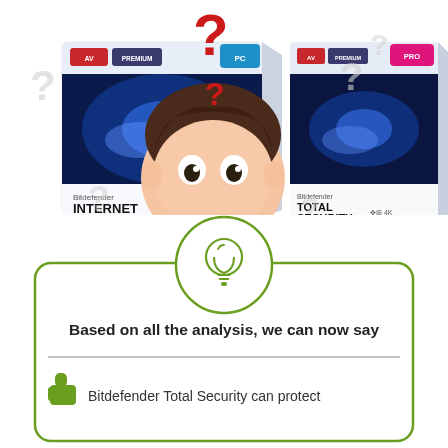[Figure (illustration): Cartoon illustration of a confused person with question marks, flanked by two Bitdefender product boxes: Bitdefender Internet Security (left) and Bitdefender Total Security (right)]
[Figure (infographic): Green rounded card with a lightbulb icon in a circle at the top, text 'Based on all the analysis, we can now say', a horizontal divider, and a thumbs-up icon with text 'Bitdefender Total Security can protect']